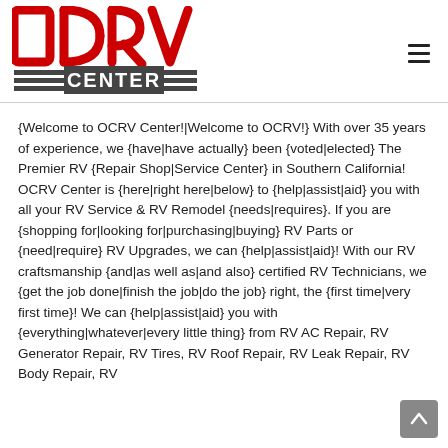[Figure (logo): OCRV Center logo with red block letters OCRV above striped CENTER text in dark grey]
{Welcome to OCRV Center!|Welcome to OCRV!} With over 35 years of experience, we {have|have actually} been {voted|elected} The Premier RV {Repair Shop|Service Center} in Southern California! OCRV Center is {here|right here|below} to {help|assist|aid} you with all your RV Service & RV Remodel {needs|requires}. If you are {shopping for|looking for|purchasing|buying} RV Parts or {need|require} RV Upgrades, we can {help|assist|aid}! With our RV craftsmanship {and|as well as|and also} certified RV Technicians, we {get the job done|finish the job|do the job} right, the {first time|very first time}! We can {help|assist|aid} you with {everything|whatever|every little thing} from RV AC Repair, RV Generator Repair, RV Tires, RV Roof Repair, RV Leak Repair, RV Body Repair, RV